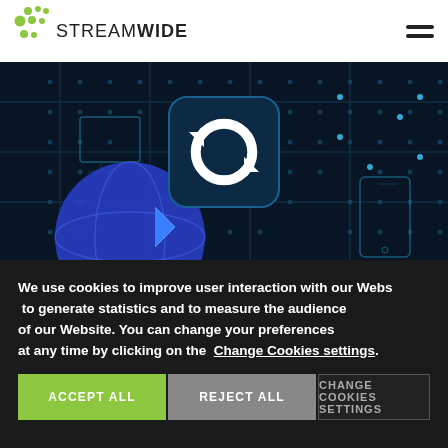[Figure (logo): StreamWide logo with green dots and company name]
[Figure (photo): Dark blue circuit board with glowing technology elements, refresh/sync icon, blue globe, mobile phone outline]
We use cookies to improve user interaction with our Website, to generate statistics and to measure the audience of our Website. You can change your preferences at any time by clicking on the Change Cookies settings.
ACCEPT ALL | REJECT ALL | CHANGE COOKIES SETTINGS